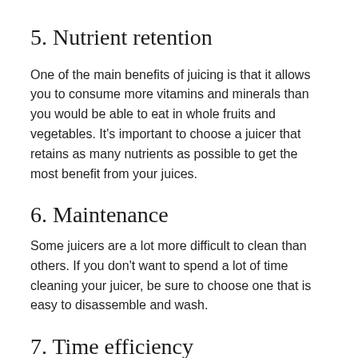5. Nutrient retention
One of the main benefits of juicing is that it allows you to consume more vitamins and minerals than you would be able to eat in whole fruits and vegetables. It’s important to choose a juicer that retains as many nutrients as possible to get the most benefit from your juices.
6. Maintenance
Some juicers are a lot more difficult to clean than others. If you don’t want to spend a lot of time cleaning your juicer, be sure to choose one that is easy to disassemble and wash.
7. Time efficiency
How much time are you willing to spend juicing? Some